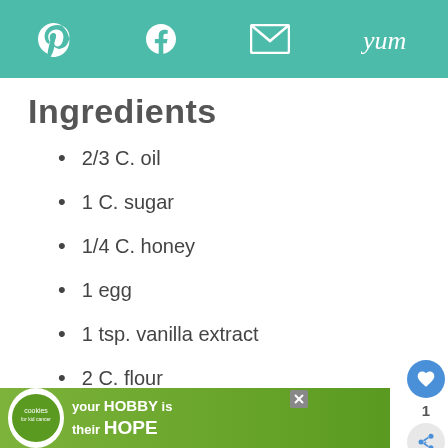Social share icons: Pinterest, Facebook, Email, Yum
Ingredients
2/3 C. oil
1 C. sugar
1/4 C. honey
1 egg
1 tsp. vanilla extract
2 C. flour
2 tsp. baking soda
1/2 tsp. salt